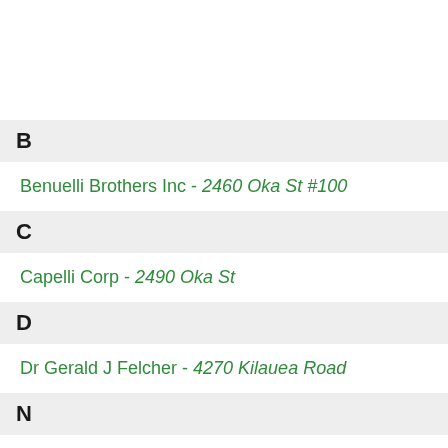B
Benuelli Brothers Inc - 2460 Oka St #100
C
Capelli Corp - 2490 Oka St
D
Dr Gerald J Felcher - 4270 Kilauea Road
N